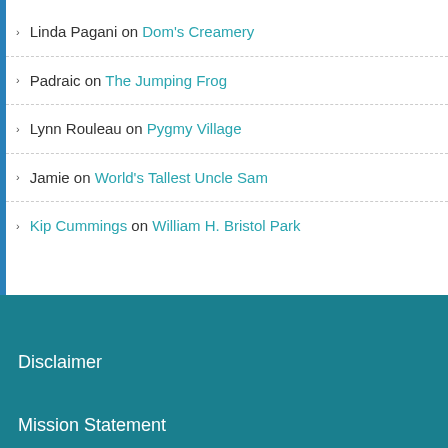Linda Pagani on Dom's Creamery
Padraic on The Jumping Frog
Lynn Rouleau on Pygmy Village
Jamie on World's Tallest Uncle Sam
Kip Cummings on William H. Bristol Park
Disclaimer
Mission Statement